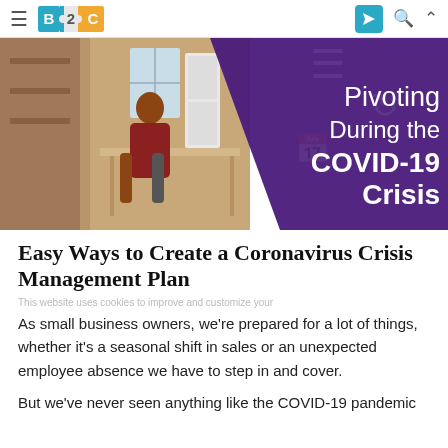≡  B2C  [send icon] [search icon] [up icon]
[Figure (photo): Hero banner image split into two halves: left side shows a woman working in a kitchen/workshop setting with brick walls and shelves; right side is a dark purple background with white text reading 'Pivoting During the COVID-19 Crisis']
Easy Ways to Create a Coronavirus Crisis Management Plan
As small business owners, we're prepared for a lot of things, whether it's a seasonal shift in sales or an unexpected employee absence we have to step in and cover.
But we've never seen anything like the COVID-19 pandemic